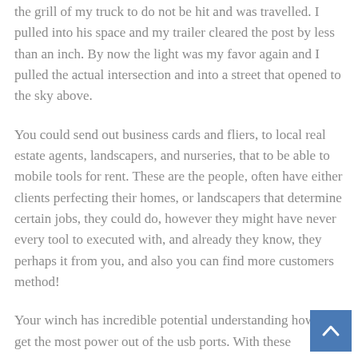the grill of my truck to do not be hit and was travelled. I pulled into his space and my trailer cleared the post by less than an inch. By now the light was my favor again and I pulled the actual intersection and into a street that opened to the sky above.
You could send out business cards and fliers, to local real estate agents, landscapers, and nurseries, that to be able to mobile tools for rent. These are the people, often have either clients perfecting their homes, or landscapers that determine certain jobs, they could do, however they might have never every tool to executed with, and already they know, they perhaps it from you, and also you can find more customers method!
Your winch has incredible potential understanding how to get the most power out of the usb ports. With these